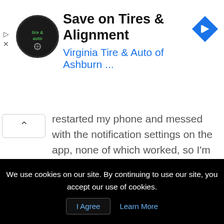[Figure (screenshot): Advertisement banner for Virginia Tire & Auto of Ashburn with circular logo, title 'Save on Tires & Alignment', subtitle in blue 'Virginia Tire & Auto of Ashburn ...' and a blue diamond navigation icon on the right.]
restarted my phone and messed with the notification settings on the app, none of which worked, so I'm assuming it's a server error on their end. Thankfully everything else works just fine.
Reply
[Figure (screenshot): Advertisement banner showing an eagle logo on the left and text 'One-of-a-Kind Online Degree' in bold.]
We use cookies on our site. By continuing to use our site, you accept our use of cookies.